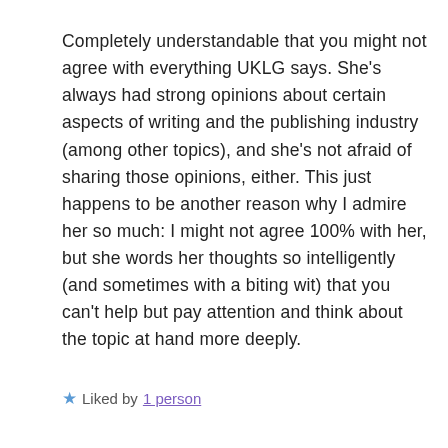Completely understandable that you might not agree with everything UKLG says. She's always had strong opinions about certain aspects of writing and the publishing industry (among other topics), and she's not afraid of sharing those opinions, either. This just happens to be another reason why I admire her so much: I might not agree 100% with her, but she words her thoughts so intelligently (and sometimes with a biting wit) that you can't help but pay attention and think about the topic at hand more deeply.
★ Liked by 1 person